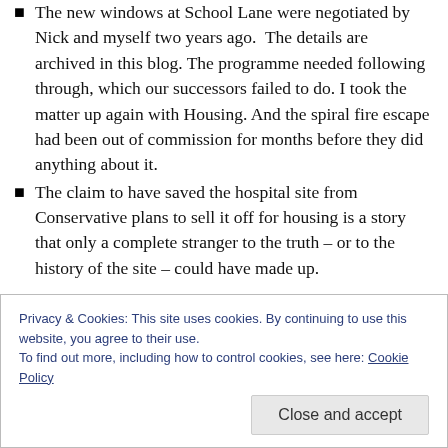The new windows at School Lane were negotiated by Nick and myself two years ago. The details are archived in this blog. The programme needed following through, which our successors failed to do. I took the matter up again with Housing. And the spiral fire escape had been out of commission for months before they did anything about it.
The claim to have saved the hospital site from Conservative plans to sell it off for housing is a story that only a complete stranger to the truth – or to the history of the site – could have made up.
Privacy & Cookies: This site uses cookies. By continuing to use this website, you agree to their use.
To find out more, including how to control cookies, see here: Cookie Policy